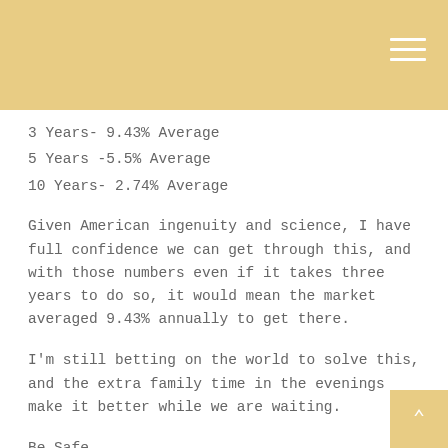3 Years- 9.43% Average
5 Years -5.5% Average
10 Years- 2.74% Average
Given American ingenuity and science, I have full confidence we can get through this, and with those numbers even if it takes three years to do so, it would mean the market averaged 9.43% annually to get there.
I'm still betting on the world to solve this, and the extra family time in the evenings make it better while we are waiting.
Be Safe,
Brandon and Kevin